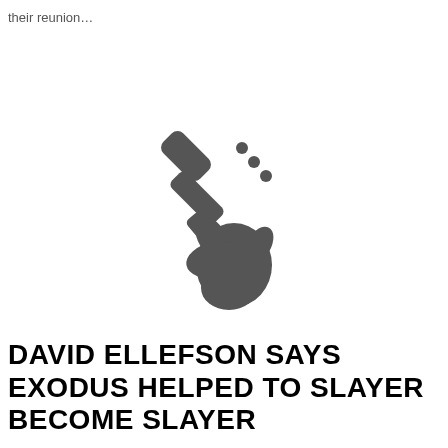their reunion…
[Figure (illustration): A dark grey silhouette icon of a hand gripping the neck/headstock of a bass guitar, with tuning pegs visible at the top right.]
DAVID ELLEFSON SAYS EXODUS HELPED TO SLAYER BECOME SLAYER